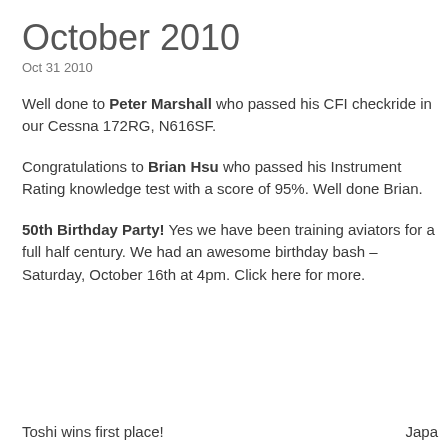October 2010
Oct 31 2010
Well done to Peter Marshall who passed his CFI checkride in our Cessna 172RG, N616SF.
Congratulations to Brian Hsu who passed his Instrument Rating knowledge test with a score of 95%. Well done Brian.
50th Birthday Party! Yes we have been training aviators for a full half century. We had an awesome birthday bash – Saturday, October 16th at 4pm. Click here for more.
Toshi wins first place!
Japa